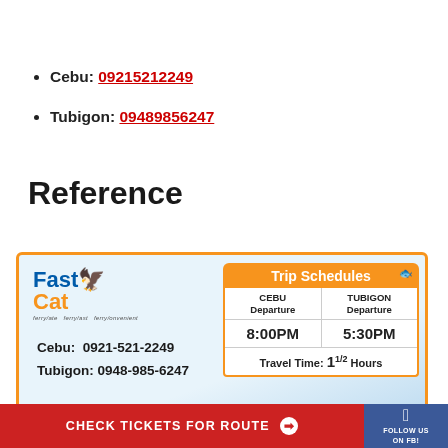Cebu: 09215212249
Tubigon: 09489856247
Reference
[Figure (infographic): FastCat ferry schedule card showing trip schedules between Cebu and Tubigon. Cebu Departure: 8:00PM, Tubigon Departure: 5:30PM, Travel Time: 1 1/2 Hours. Contact: Cebu 0921-521-2249, Tubigon 0948-985-6247.]
CHECK TICKETS FOR ROUTE
FOLLOW US ON FB!